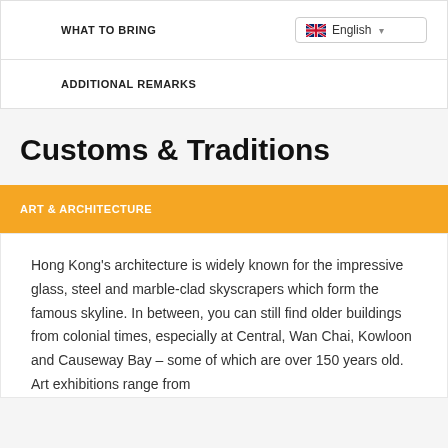WHAT TO BRING
ADDITIONAL REMARKS
Customs & Traditions
ART & ARCHITECTURE
Hong Kong's architecture is widely known for the impressive glass, steel and marble-clad skyscrapers which form the famous skyline. In between, you can still find older buildings from colonial times, especially at Central, Wan Chai, Kowloon and Causeway Bay – some of which are over 150 years old. Art exhibitions range from